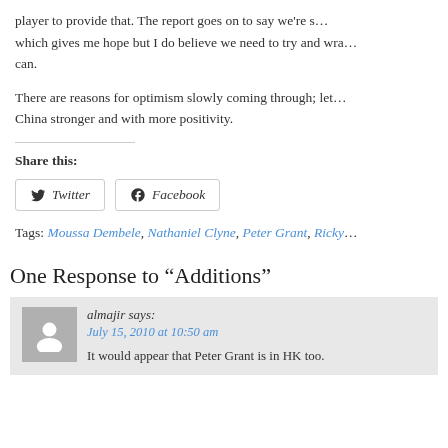player to provide that. The report goes on to say we're s... which gives me hope but I do believe we need to try and wra... can.
There are reasons for optimism slowly coming through; let... China stronger and with more positivity.
Share this:
[Figure (other): Twitter share button]
[Figure (other): Facebook share button]
Tags: Moussa Dembele, Nathaniel Clyne, Peter Grant, Ricky...
One Response to “Additions”
almajir says: July 15, 2010 at 10:50 am It would appear that Peter Grant is in HK too.